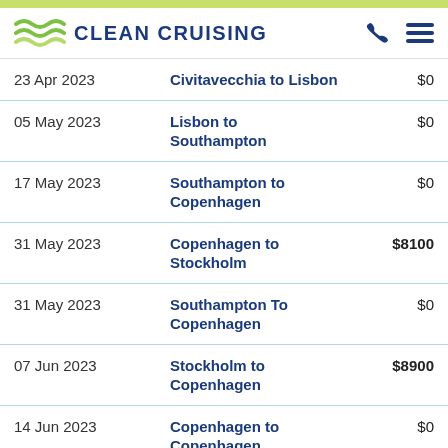Clean Cruising
| Date | Route | Price |
| --- | --- | --- |
| 23 Apr 2023 | Civitavecchia to Lisbon | $0 |
| 05 May 2023 | Lisbon to Southampton | $0 |
| 17 May 2023 | Southampton to Copenhagen | $0 |
| 31 May 2023 | Copenhagen to Stockholm | $8100 |
| 31 May 2023 | Southampton To Copenhagen | $0 |
| 07 Jun 2023 | Stockholm to Copenhagen | $8900 |
| 14 Jun 2023 | Copenhagen to Copenhagen | $0 |
| 28 Jun 2023 | Copenhagen to Stockholm | $0 |
| 05 Jul 2023 | Stockholm to Copenhagen |  |